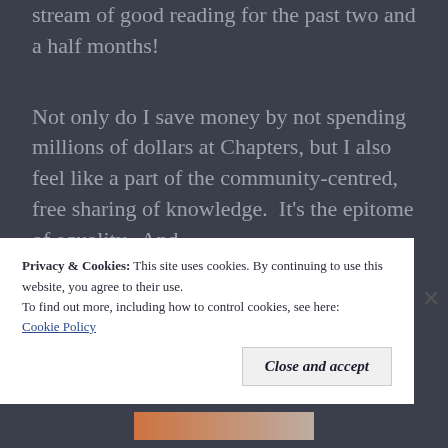stream of good reading for the past two and a half months!
Not only do I save money by not spending millions of dollars at Chapters, but I also feel like a part of the community-centred, free sharing of knowledge.  It's the epitome of equality.  And
Privacy & Cookies: This site uses cookies. By continuing to use this website, you agree to their use.
To find out more, including how to control cookies, see here: Cookie Policy
Close and accept